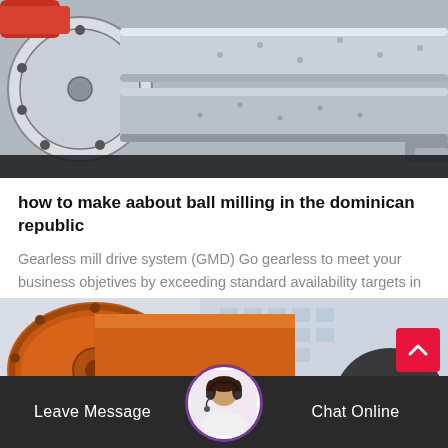[Figure (photo): Industrial ball milling machinery with large cylindrical drums and pipes, grey and silver tones]
how to make aabout ball milling in the dominican republic
Gearless mill drive system (GMD) Go gearless to meet your business objetives by exceeding standard availability targets in your grinding operations. ABB's…
Release Time:07-14
[Figure (photo): Orange industrial ball mill drum with flanged connections and large gear mechanism in the background, industrial facility setting]
Leave Message  Chat Online